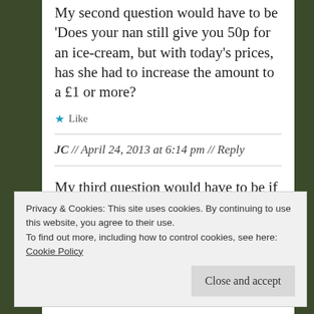My second question would have to be 'Does your nan still give you 50p for an ice-cream, but with today's prices, has she had to increase the amount to a £1 or more?
★ Like
JC // April 24, 2013 at 6:14 pm // Reply
My third question would have to be if
Privacy & Cookies: This site uses cookies. By continuing to use this website, you agree to their use.
To find out more, including how to control cookies, see here:
Cookie Policy
Close and accept